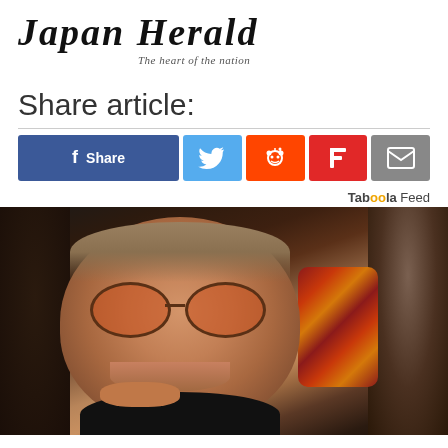JAPAN HERALD
The heart of the nation
Share article:
[Figure (infographic): Social share buttons: Facebook Share, Twitter, Reddit, Flipboard, Email]
Taboola Feed
[Figure (photo): Older man smiling, wearing round orange-tinted sunglasses and a colorful scarf/bandana, in a crowd setting]